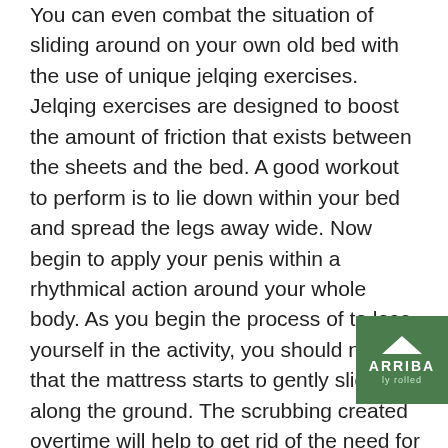You can even combat the situation of sliding around on your own old bed with the use of unique jelqing exercises. Jelqing exercises are designed to boost the amount of friction that exists between the sheets and the bed. A good workout to perform is to lie down within your bed and spread the legs away wide. Now begin to apply your penis within a rhythmical action around your whole body. As you begin the process of to lose yourself in the activity, you should notice that the mattress starts to gently slide along the ground. The scrubbing created overtime will help to get rid of the need for swapping your previous mattress.

If neither of such techniques really helps to eliminate the prospect of a mattress that is sliding around, then this next choice that you may really want to try is purchasing some floor covering tape. Carpeting tape is actually rolled out and wrapped around the complete circumference of
[Figure (logo): Green square logo with upward chevron/arrow and text ARRIBA]